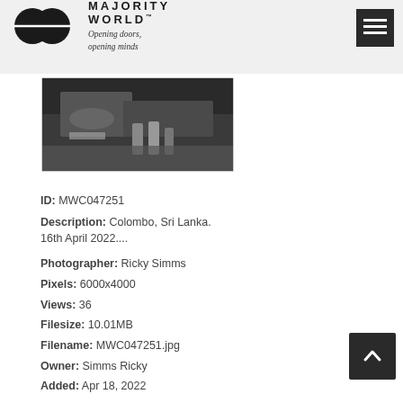MAJORITY WORLD™ — Opening doors, opening minds
[Figure (photo): Partial thumbnail photo showing ground-level view with objects, possibly pipes or tools, in a dark setting. Colombo, Sri Lanka.]
ID: MWC047251
Description: Colombo, Sri Lanka. 16th April 2022....
Photographer: Ricky Simms
Pixels: 6000x4000
Views: 36
Filesize: 10.01MB
Filename: MWC047251.jpg
Owner: Simms Ricky
Added: Apr 18, 2022